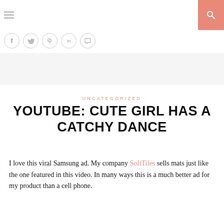≡  [search icon]
[Figure (infographic): Row of 5 social media share icons in circles: Facebook, Twitter, Pinterest, LinkedIn, Comment]
UNCATEGORIZED
YOUTUBE: CUTE GIRL HAS A CATCHY DANCE
I love this viral Samsung ad.  My company SoftTiles sells mats just like the one featured in this video.  In many ways this is a much better ad for my product than a cell phone.